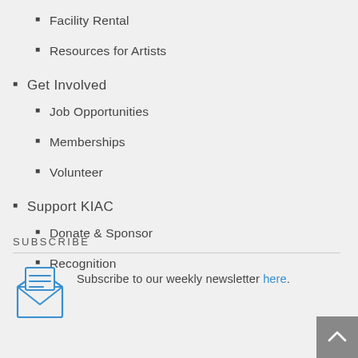Facility Rental
Resources for Artists
Get Involved
Job Opportunities
Memberships
Volunteer
Support KIAC
Donate & Sponsor
Recognition
SUBSCRIBE
Subscribe to our weekly newsletter here.
[Figure (illustration): Open envelope with letter icon, blue outline style]